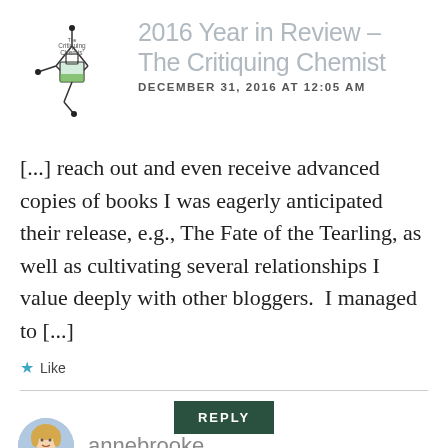[Figure (logo): The Critiquing Chemist blog logo — molecular structure drawing with lab flask]
2016 Year in Review – The Critiquing Chemist
DECEMBER 31, 2016 AT 12:05 AM
[...] reach out and even receive advanced copies of books I was eagerly anticipated their release, e.g., The Fate of the Tearling, as well as cultivating several relationships I value deeply with other bloggers.  I managed to [...]
★ Like
REPLY
[Figure (photo): Avatar photo of commenter annebrooke — woman with blonde hair]
annebrooke